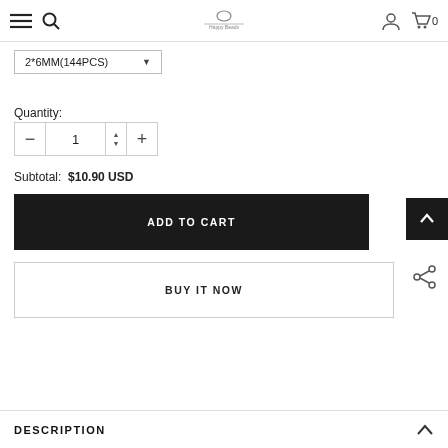Hamburger menu, search icon, logo, user icon, cart icon (0)
2*6MM(144PCS) ▼
Quantity:
1
Subtotal:  $10.90 USD
ADD TO CART
BUY IT NOW
DESCRIPTION